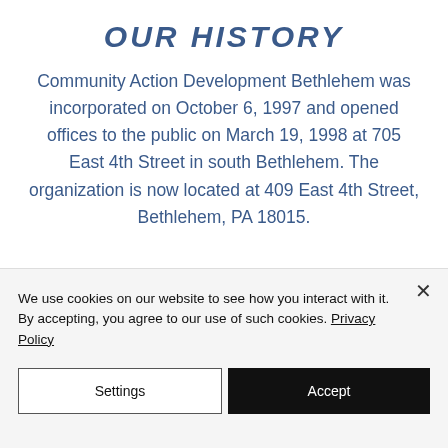OUR HISTORY
Community Action Development Bethlehem was incorporated on October 6, 1997 and opened offices to the public on March 19, 1998 at 705 East 4th Street in south Bethlehem. The organization is now located at 409 East 4th Street, Bethlehem, PA 18015.
We use cookies on our website to see how you interact with it. By accepting, you agree to our use of such cookies. Privacy Policy
Settings
Accept